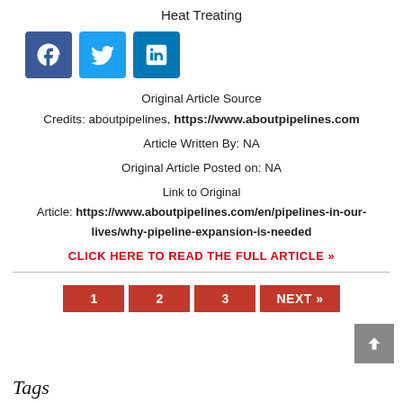Heat Treating
[Figure (other): Social media share icons: Facebook (blue square with f), Twitter (light blue square with bird), LinkedIn (blue square with in)]
Original Article Source
Credits: aboutpipelines, https://www.aboutpipelines.com
Article Written By: NA
Original Article Posted on: NA
Link to Original Article: https://www.aboutpipelines.com/en/pipelines-in-our-lives/why-pipeline-expansion-is-needed
CLICK HERE TO READ THE FULL ARTICLE »
[Figure (other): Pagination buttons: 1, 2, 3, NEXT »]
[Figure (other): Scroll to top button (grey square with up arrow)]
Tags